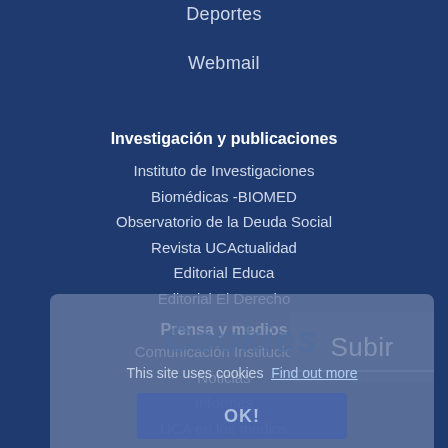Deportes
Webmail
Investigación y publicaciones
Instituto de Investigaciones Biomédicas -BIOMED
Observatorio de la Deuda Social
Revista UCActualidad
Editorial Educa
Editorial El Derecho
Prensa y medios
Comunicación Institucional
Noticias
Informes
UCA en los medios
Extensión y servicios
[Figure (screenshot): Cookie consent overlay with 'Cookies' watermark text, message 'This site uses cookies Find out more' and an 'OK!' button]
Subir